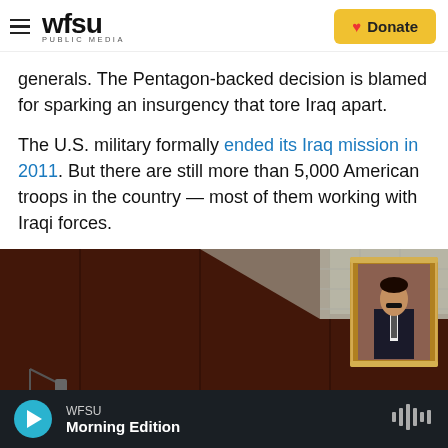WFSU PUBLIC MEDIA | Donate
generals. The Pentagon-backed decision is blamed for sparking an insurgency that tore Iraq apart.
The U.S. military formally ended its Iraq mission in 2011. But there are still more than 5,000 American troops in the country — most of them working with Iraqi forces.
[Figure (photo): A framed portrait of a man in a suit hanging on a dark wood-paneled wall, with ceiling tiles visible in the upper right and some objects below.]
WFSU Morning Edition (audio player bar)